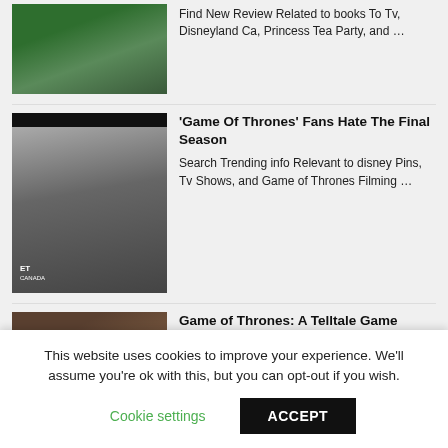[Figure (photo): Animal (deer/horse) in front of green screen background]
Find New Review Related to books To Tv, Disneyland Ca, Princess Tea Party, and ...
[Figure (screenshot): Game of Thrones scene with woman (Daenerys) in dark clothing, smoke/mist background. ET Canada logo visible.]
'Game Of Thrones' Fans Hate The Final Season
Search Trending info Relevant to disney Pins, Tv Shows, and Game of Thrones Filming ...
[Figure (screenshot): Game of Thrones: A Telltale Game Series screenshot showing a red-haired female character]
Game of Thrones: A Telltale Game Series – Launch Trailer
Read Latest info About watch Nba Playoffs Online, Disneyland Lost And
This website uses cookies to improve your experience. We'll assume you're ok with this, but you can opt-out if you wish.